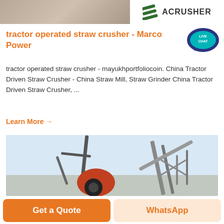[Figure (photo): Top banner image showing rocky/quarry material on the left and ACRUSHER logo with green diagonal bars on the right on white background]
tractor operated straw crusher - Marco Power
[Figure (illustration): Live chat bubble icon - blue speech bubble with 'LIVE CHAT' text in teal/cyan]
tractor operated straw crusher - mayukhportfoliocoin. China Tractor Driven Straw Crusher - China Straw Mill, Straw Grinder China Tractor Driven Straw Crusher, ...
Learn More →
[Figure (photo): Industrial machinery photo showing a large crane/excavator arm on the left and a conveyor belt structure on the right against a light blue sky]
Get a Quote
WhatsApp